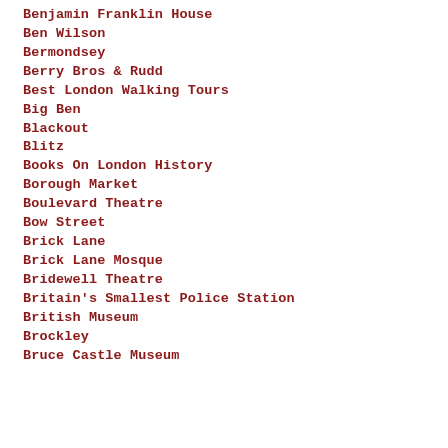Benjamin Franklin House
Ben Wilson
Bermondsey
Berry Bros & Rudd
Best London Walking Tours
Big Ben
Blackout
Blitz
Books On London History
Borough Market
Boulevard Theatre
Bow Street
Brick Lane
Brick Lane Mosque
Bridewell Theatre
Britain's Smallest Police Station
British Museum
Brockley
Bruce Castle Museum